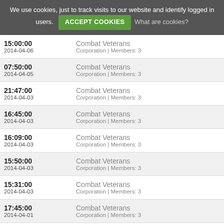We use cookies, just to track visits to our website and identify logged in users. ACCEPT COOKIES What are cookies?
15:00:00 | 2014-04-06 | Combat Veterans | Corporation | Members: 3
07:50:00 | 2014-04-05 | Combat Veterans | Corporation | Members: 3
21:47:00 | 2014-04-03 | Combat Veterans | Corporation | Members: 3
16:45:00 | 2014-04-03 | Combat Veterans | Corporation | Members: 3
16:09:00 | 2014-04-03 | Combat Veterans | Corporation | Members: 3
15:50:00 | 2014-04-03 | Combat Veterans | Corporation | Members: 3
15:31:00 | 2014-04-03 | Combat Veterans | Corporation | Members: 3
17:45:00 | 2014-04-01 | Combat Veterans | Corporation | Members: 3
13:10:00 | 2014-03-28 | Combat Veterans | Corporation | Members: 3
12:55:00 | 2014-03-28 | Combat Veterans | Corporation | Members: 3